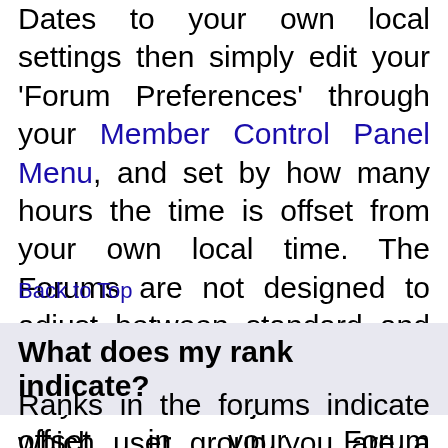Dates to your own local settings then simply edit your 'Forum Preferences' through your Member Control Panel Menu, and set by how many hours the time is offset from your own local time. The Forums are not designed to adjust between standard and daylight saving times, so you may need to adjust the time offset in your Forum Preferences during these months.
Back to Top
What does my rank indicate?
Ranks in the forums indicate which user group you are a member of and to identify users, for example, moderators and administrators may have a special rank. Depending on the setup of the forum you may be able to use different